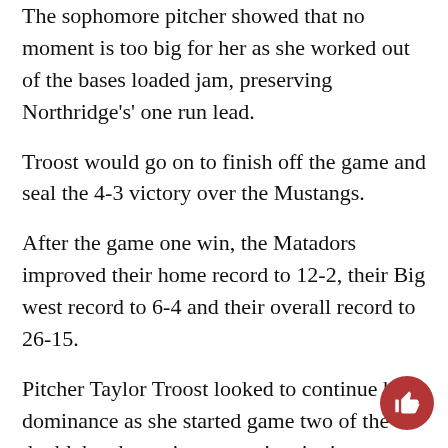The sophomore pitcher showed that no moment is too big for her as she worked out of the bases loaded jam, preserving Northridge's' one run lead.
Troost would go on to finish off the game and seal the 4-3 victory over the Mustangs.
After the game one win, the Matadors improved their home record to 12-2, their Big west record to 6-4 and their overall record to 26-15.
Pitcher Taylor Troost looked to continue her dominance as she started game two of the doubleheader, going up against junior Lindsey Chalmers.
After allowing a single to the next batter, breaking up Troost's no hitter, Cal Poly's Hailey Martin would hit a single up the middle scoring one and giving the Mustangs a 2-0 lead.